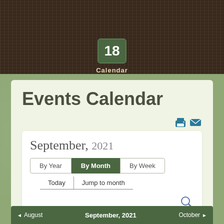Calendar
Events Calendar
September, 2021
By Year | By Month | By Week
Today | Jump to month
◄ August  September, 2021  October ►